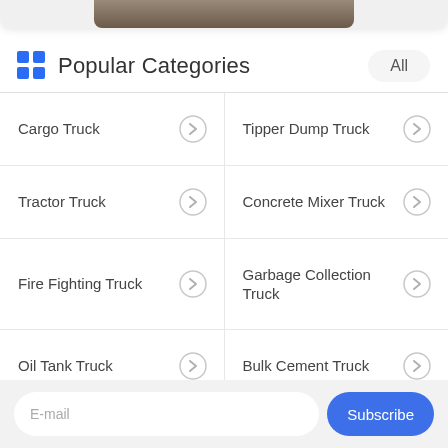[Figure (photo): Top portion of a card with a dark/terrain image, partially cropped at top]
Popular Categories
Cargo Truck
Tipper Dump Truck
Tractor Truck
Concrete Mixer Truck
Fire Fighting Truck
Garbage Collection Truck
Oil Tank Truck
Bulk Cement Truck
E-mail
Subscribe